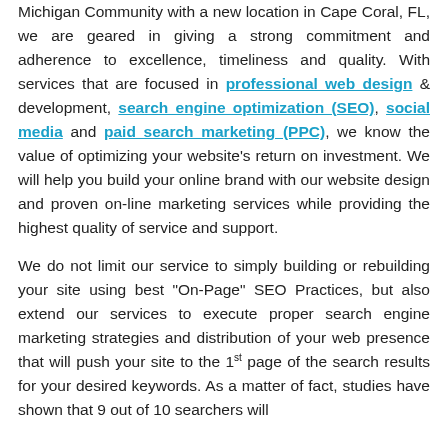Michigan Community with a new location in Cape Coral, FL, we are geared in giving a strong commitment and adherence to excellence, timeliness and quality. With services that are focused in professional web design & development, search engine optimization (SEO), social media and paid search marketing (PPC), we know the value of optimizing your website's return on investment. We will help you build your online brand with our website design and proven on-line marketing services while providing the highest quality of service and support.
We do not limit our service to simply building or rebuilding your site using best "On-Page" SEO Practices, but also extend our services to execute proper search engine marketing strategies and distribution of your web presence that will push your site to the 1st page of the search results for your desired keywords. As a matter of fact, studies have shown that 9 out of 10 searchers will